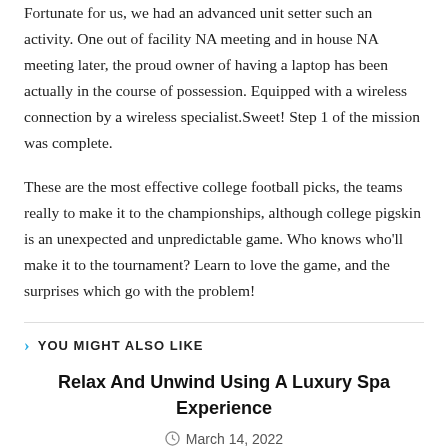Fortunate for us, we had an advanced unit setter such an activity. One out of facility NA meeting and in house NA meeting later, the proud owner of having a laptop has been actually in the course of possession. Equipped with a wireless connection by a wireless specialist.Sweet! Step 1 of the mission was complete.
These are the most effective college football picks, the teams really to make it to the championships, although college pigskin is an unexpected and unpredictable game. Who knows who'll make it to the tournament? Learn to love the game, and the surprises which go with the problem!
YOU MIGHT ALSO LIKE
Relax And Unwind Using A Luxury Spa Experience
March 14, 2022